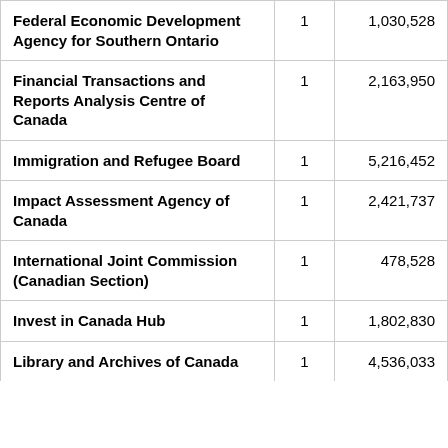| Federal Economic Development Agency for Southern Ontario | 1 | 1,030,528 |
| Financial Transactions and Reports Analysis Centre of Canada | 1 | 2,163,950 |
| Immigration and Refugee Board | 1 | 5,216,452 |
| Impact Assessment Agency of Canada | 1 | 2,421,737 |
| International Joint Commission (Canadian Section) | 1 | 478,528 |
| Invest in Canada Hub | 1 | 1,802,830 |
| Library and Archives of Canada | 1 | 4,536,033 |